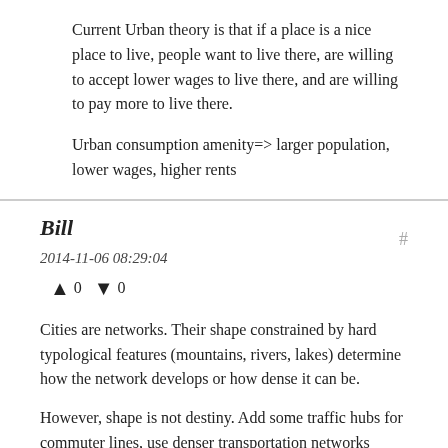Current Urban theory is that if a place is a nice place to live, people want to live there, are willing to accept lower wages to live there, and are willing to pay more to live there.
Urban consumption amenity=> larger population, lower wages, higher rents
Bill
2014-11-06 08:29:04
▲ 0 ▼ 0
Cities are networks. Their shape constrained by hard typological features (mountains, rivers, lakes) determine how the network develops or how dense it can be.
However, shape is not destiny. Add some traffic hubs for commuter lines, use denser transportation networks (subways, commuter lines) and you can support quite a few people. Look at NYC., Wash DC. Ask what they would be without mass transportation, access a dense network of subway lines